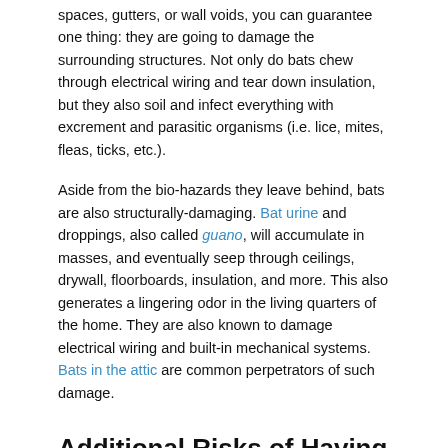spaces, gutters, or wall voids, you can guarantee one thing: they are going to damage the surrounding structures. Not only do bats chew through electrical wiring and tear down insulation, but they also soil and infect everything with excrement and parasitic organisms (i.e. lice, mites, fleas, ticks, etc.).
Aside from the bio-hazards they leave behind, bats are also structurally-damaging. Bat urine and droppings, also called guano, will accumulate in masses, and eventually seep through ceilings, drywall, floorboards, insulation, and more. This also generates a lingering odor in the living quarters of the home. They are also known to damage electrical wiring and built-in mechanical systems. Bats in the attic are common perpetrators of such damage.
Additional Risks of Having Bats in the House
Bats are also common carriers of several zooonic